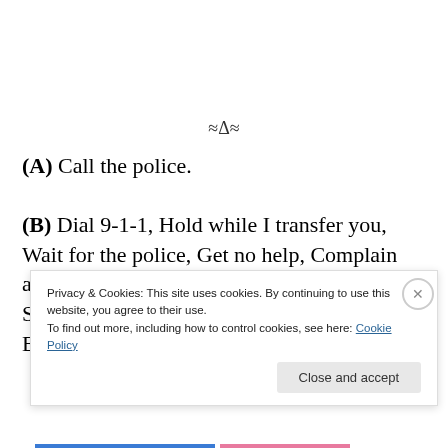≈Δ≈
(A) Call the police.
(B) Dial 9-1-1, Hold while I transfer you, Wait for the police, Get no help, Complain about the police, Get harassed by the police, Stop calling the police, Learn self defense, Buy a gun, and then learn to help yourself
Privacy & Cookies: This site uses cookies. By continuing to use this website, you agree to their use. To find out more, including how to control cookies, see here: Cookie Policy
Close and accept